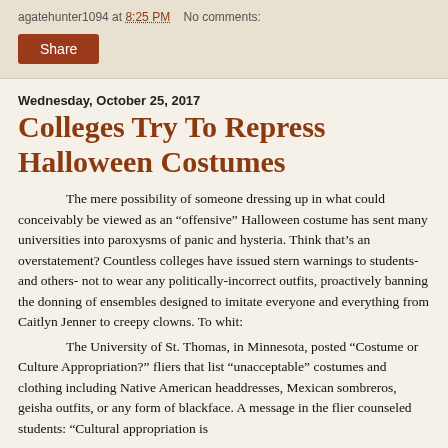agatehunter1094 at 8:25 PM   No comments:
Share
Wednesday, October 25, 2017
Colleges Try To Repress Halloween Costumes
The mere possibility of someone dressing up in what could conceivably be viewed as an “offensive” Halloween costume has sent many universities into paroxysms of panic and hysteria. Think that’s an overstatement? Countless colleges have issued stern warnings to students- and others- not to wear any politically-incorrect outfits, proactively banning the donning of ensembles designed to imitate everyone and everything from Caitlyn Jenner to creepy clowns. To whit:
The University of St. Thomas, in Minnesota, posted “Costume or Culture Appropriation?” fliers that list “unacceptable” costumes and clothing including Native American headdresses, Mexican sombreros, geisha outfits, or any form of blackface. A message in the flier counseled students: “Cultural appropriation is